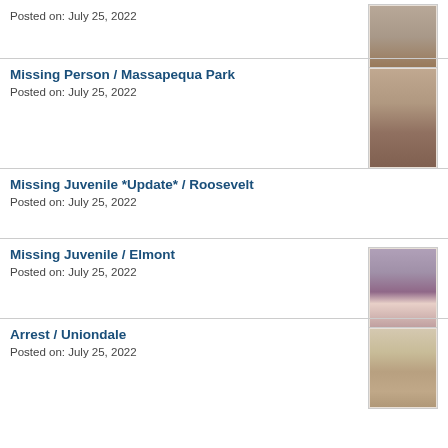Posted on: July 25, 2022
[Figure (photo): Headshot photo of a woman wearing a dark bandana/scarf around her neck]
Missing Person / Massapequa Park
Posted on: July 25, 2022
[Figure (photo): Headshot photo of a woman wearing a dark bandana/scarf]
Missing Juvenile *Update* / Roosevelt
Posted on: July 25, 2022
Missing Juvenile / Elmont
Posted on: July 25, 2022
[Figure (photo): Photo of a teenage girl with long dark curly hair and glasses]
Arrest / Uniondale
Posted on: July 25, 2022
[Figure (photo): Mugshot photo of a man with short light-colored hair]